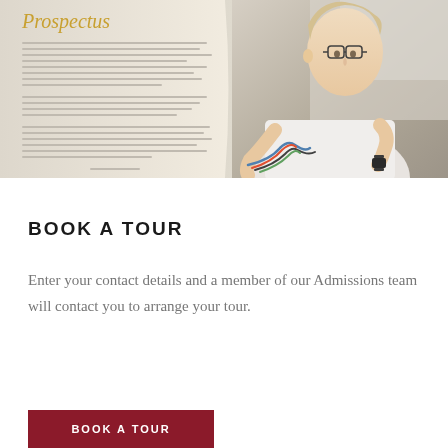[Figure (photo): A photograph showing an open school prospectus booklet on the left side with italic gold 'Prospectus' title and text columns, and on the right side a student (young person wearing glasses and a watch) working with wires or cables in a lab or workshop setting.]
BOOK A TOUR
Enter your contact details and a member of our Admissions team will contact you to arrange your tour.
BOOK A TOUR